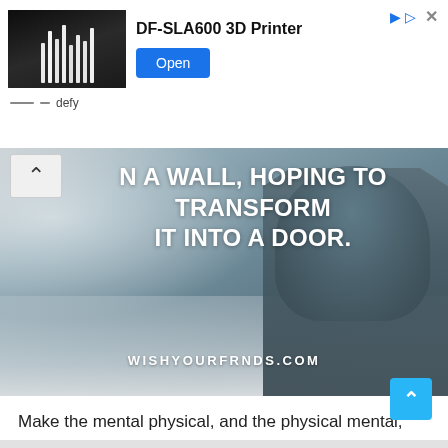[Figure (screenshot): Advertisement banner for DF-SLA600 3D Printer showing a photo of 3D printed models on the left, product name 'DF-SLA600 3D Printer' in bold, and an 'Open' blue button on the right. Top-right has play and close icons. Below the ad image is 'defy' source label.]
[Figure (photo): Inspirational image showing a person in a hooded sweater viewed from behind, standing in a snowy/beach landscape. White bold text overlaid reads 'N A WALL, HOPING TO TRANSFORM IT INTO A DOOR.' with WISHYOURFRNDS.COM at the bottom. Left side has a white chevron/up arrow button.]
Make the mental physical, and the physical mental, and things will improve.